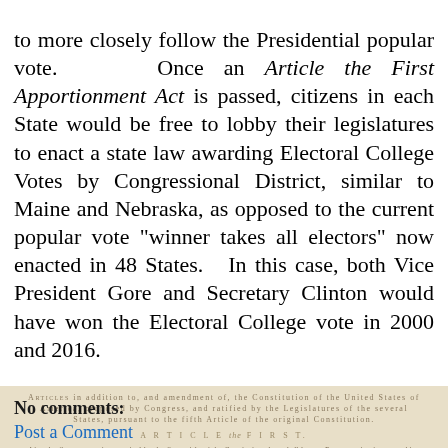to more closely follow the Presidential popular vote. Once an Article the First Apportionment Act is passed, citizens in each State would be free to lobby their legislatures to enact a state law awarding Electoral College Votes by Congressional District, similar to Maine and Nebraska, as opposed to the current popular vote "winner takes all electors" now enacted in 48 States. In this case, both Vice President Gore and Secretary Clinton would have won the Electoral College vote in 2000 and 2016.
[Figure (other): Background image of an old historical document showing Article the First text with aged paper appearance]
No comments:
Post a Comment